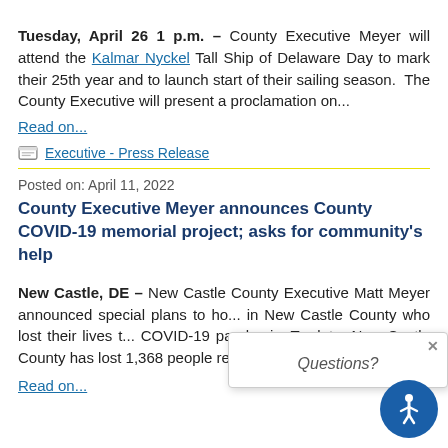Tuesday, April 26 1 p.m. – County Executive Meyer will attend the Kalmar Nyckel Tall Ship of Delaware Day to mark their 25th year and to launch start of their sailing season. The County Executive will present a proclamation on...
Read on...
Executive - Press Release
Posted on: April 11, 2022
County Executive Meyer announces County COVID-19 memorial project; asks for community's help
New Castle, DE – New Castle County Executive Matt Meyer announced special plans to ho... in New Castle County who lost their lives t... COVID-19 pandemic. To date, New Castle County has lost 1,368 people related to the COVID-19 ...
Read on...